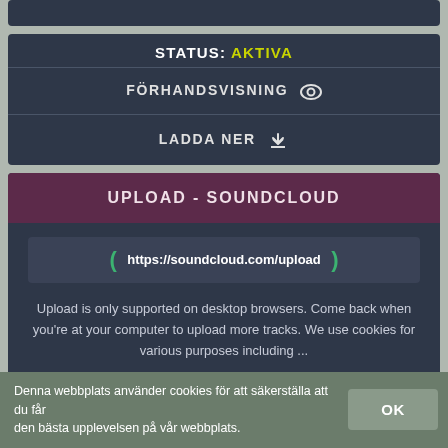STATUS: AKTIVA
FÖRHANDSVISNING
LADDA NER
UPLOAD - SOUNDCLOUD
https://soundcloud.com/upload
Upload is only supported on desktop browsers. Come back when you're at your computer to upload more tracks. We use cookies for various purposes including ...
STATUS: AKTIVA
Denna webbplats använder cookies för att säkerställa att du får den bästa upplevelsen på vår webbplats.